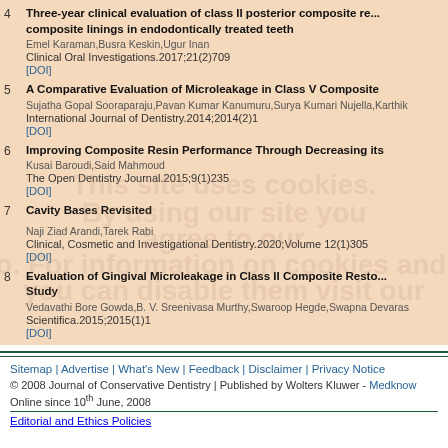4. Three-year clinical evaluation of class II posterior composite restorations using composite linings in endodontically treated teeth. Emel Karaman,Busra Keskin,Ugur Inan. Clinical Oral Investigations.2017;21(2)709. [DOI]
5. A Comparative Evaluation of Microleakage in Class V Composite. Sujatha Gopal Sooraparaju,Pavan Kumar Kanumuru,Surya Kumari Nujella,Karthik. International Journal of Dentistry.2014;2014(2)1. [DOI]
6. Improving Composite Resin Performance Through Decreasing its. Kusai Baroudi,Said Mahmoud. The Open Dentistry Journal.2015;9(1)235. [DOI]
7. Cavity Bases Revisited. Naji Ziad Arandi,Tarek Rabi. Clinical, Cosmetic and Investigational Dentistry.2020;Volume 12(1)305. [DOI]
8. Evaluation of Gingival Microleakage in Class II Composite Resto... Study. Vedavathi Bore Gowda,B. V. Sreenivasa Murthy,Swaroop Hegde,Swapna Devaras. Scientifica.2015;2015(1)1. [DOI]
Sitemap | Advertise | What's New | Feedback | Disclaimer | Privacy Notice
© 2008 Journal of Conservative Dentistry | Published by Wolters Kluwer - Medknow
Online since 10th June, 2008
Editorial and Ethics Policies